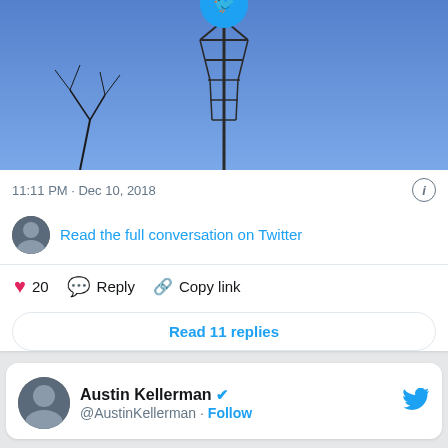[Figure (photo): A cell tower against a blue sky with bare tree branches, photo embedded in a tweet card]
11:11 PM · Dec 10, 2018
Read the full conversation on Twitter
20  Reply  Copy link
Read 11 replies
Austin Kellerman @AustinKellerman · Follow
Advertisements
[Figure (photo): Seamless food delivery advertisement banner showing pizza with 'ORDER NOW' button]